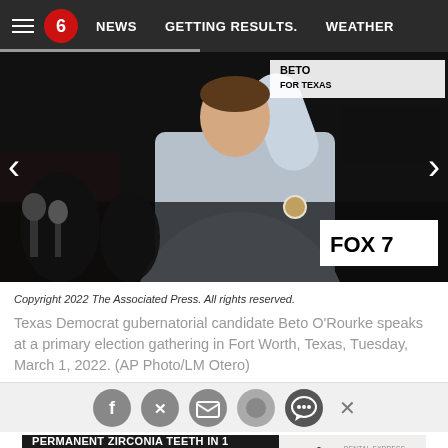NEWS | GETTING RESULTS. | WEATHER
[Figure (photo): Texas Democrat gubernatorial candidate Beto O'Rourke speaking at a primary election gathering, arm raised, with 'Beto for Texas' banner visible and FOX7 microphone in frame]
Copyright 2022 The Associated Press. All rights reserved.
Texas Democrat gubernatorial candidate Beto O'Rourke speaks at a primary election gathering in Fort Worth, Texas, Tuesday, March 1, 2022. (AP Photo/LM Otero)
[Figure (infographic): Social media sharing icons: Facebook, Twitter, Email, and comment/chat buttons, with an X close button]
[Figure (infographic): Advertisement banner: PERMANENT ZIRCONIA TEETH IN 1 WEEK. SAVE THOUSANDS! LEARN MORE - Dental Express Implant Solution Centers]
Democrat Beto O'Rourke after winning in Texas' Democratic...